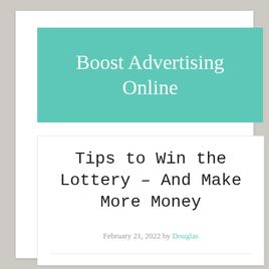Boost Advertising Online
Tips to Win the Lottery – And Make More Money
February 21, 2022 by Douglas